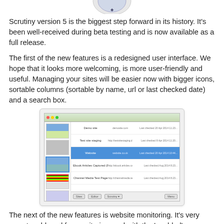[Figure (screenshot): Partial logo image at top of page (cropped, circle emblem)]
Scrutiny version 5 is the biggest step forward in its history. It's been well-received during beta testing and is now available as a full release.
The first of the new features is a redesigned user interface. We hope that it looks more welcoming, is more user-friendly and useful. Managing your sites will be easier now with bigger icons, sortable columns (sortable by name, url or last checked date) and a search box.
[Figure (screenshot): Screenshot of Scrutiny version 5 redesigned user interface showing a list of websites with sortable columns and one row highlighted in blue.]
The next of the new features is website monitoring. It's very easy to add a url for monitoring, and with the 'enabled' checkbox checked and while Scrutiny is running, it'll check that url at the interval you set.